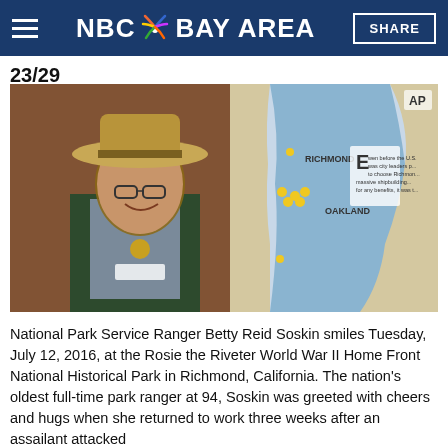NBC Bay Area
23/29
[Figure (photo): National Park Service Ranger Betty Reid Soskin in uniform with hat and glasses, smiling, standing in front of a historical map of the San Francisco Bay Area showing Richmond and Oakland.]
National Park Service Ranger Betty Reid Soskin smiles Tuesday, July 12, 2016, at the Rosie the Riveter World War II Home Front National Historical Park in Richmond, California. The nation's oldest full-time park ranger at 94, Soskin was greeted with cheers and hugs when she returned to work three weeks after an assailant attacked